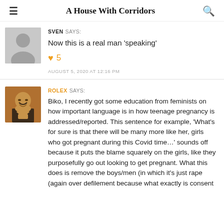A House With Corridors
SVEN SAYS:
Now this is a real man 'speaking'
♥ 5
AUGUST 5, 2020 AT 12:16 PM
ROLEX SAYS:
Biko, I recently got some education from feminists on how important language is in how teenage pregnancy is addressed/reported. This sentence for example, 'What's for sure is that there will be many more like her, girls who got pregnant during this Covid time…' sounds off because it puts the blame squarely on the girls, like they purposefully go out looking to get pregnant. What this does is remove the boys/men (in which it's just rape (again over defilement because what exactly is consent